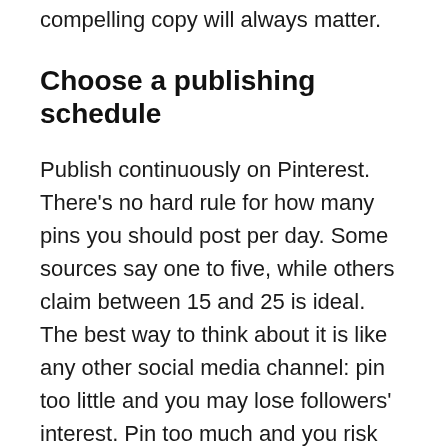compelling copy will always matter.
Choose a publishing schedule
Publish continuously on Pinterest. There’s no hard rule for how many pins you should post per day. Some sources say one to five, while others claim between 15 and 25 is ideal. The best way to think about it is like any other social media channel: pin too little and you may lose followers’ interest. Pin too much and you risk overwhelming them.
Start with what you can manage based on time and new pin content ideas. As you post, you